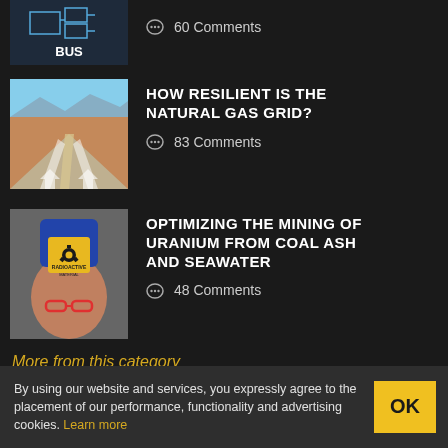[Figure (screenshot): Partial article thumbnail showing 'BUS' text on dark background with circuit-like graphic]
60 Comments
[Figure (illustration): Stylized illustration of desert highway with road markings receding into distance under blue sky]
HOW RESILIENT IS THE NATURAL GAS GRID?
83 Comments
[Figure (photo): Photo of person holding radioactive materials warning sign wearing blue gloves and red safety glasses]
OPTIMIZING THE MINING OF URANIUM FROM COAL ASH AND SEAWATER
48 Comments
More from this category
By using our website and services, you expressly agree to the placement of our performance, functionality and advertising cookies. Learn more